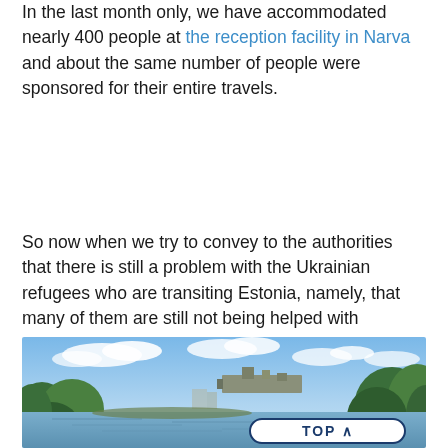In the last month only, we have accommodated nearly 400 people at the reception facility in Narva and about the same number of people were sponsored for their entire travels.
So now when we try to convey to the authorities that there is still a problem with the Ukrainian refugees who are transiting Estonia, namely, that many of them are still not being helped with emergency accommodation, we usually get in response: "Could you give us a concrete example?" and "How did this happen?"
[Figure (photo): Outdoor photograph of a river scene with a cityscape in the background, green trees on both sides, blue sky with clouds. Likely the Narva river area. A 'TOP ^' navigation button is overlaid in the bottom right of the image.]